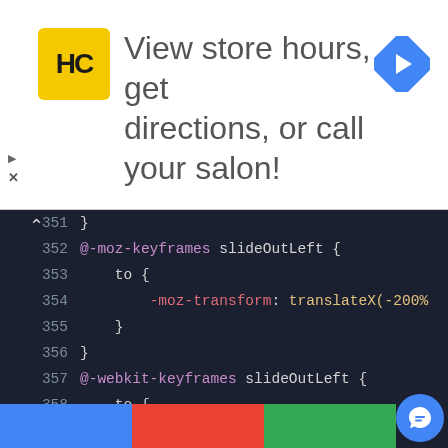[Figure (screenshot): Advertisement banner for a hair salon app showing HC logo, text 'View store hours, get directions, or call your salon!', and a navigation arrow icon.]
[Figure (screenshot): Code editor screenshot showing CSS keyframe animations: @-moz-keyframes slideOutLeft, @-webkit-keyframes slideOutLeft, and @keyframes slideInRight with translateX values. Dark theme code editor with line numbers 351-368.]